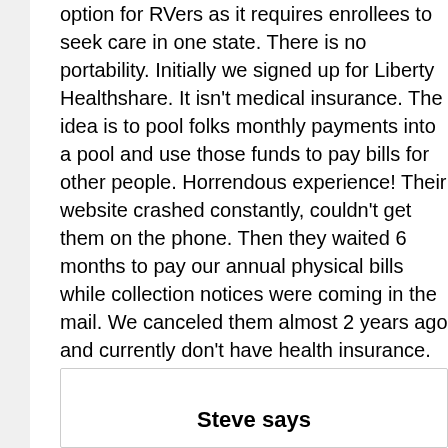option for RVers as it requires enrollees to seek care in one state. There is no portability. Initially we signed up for Liberty Healthshare. It isn't medical insurance. The idea is to pool folks monthly payments into a pool and use those funds to pay bills for other people. Horrendous experience! Their website crashed constantly, couldn't get them on the phone. Then they waited 6 months to pay our annual physical bills while collection notices were coming in the mail. We canceled them almost 2 years ago and currently don't have health insurance.
Reply
Steve says